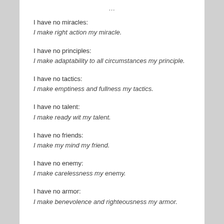I have no miracles:
I make right action my miracle.
I have no principles:
I make adaptability to all circumstances my principle.
I have no tactics:
I make emptiness and fullness my tactics.
I have no talent:
I make ready wit my talent.
I have no friends:
I make my mind my friend.
I have no enemy:
I make carelessness my enemy.
I have no armor:
I make benevolence and righteousness my armor.